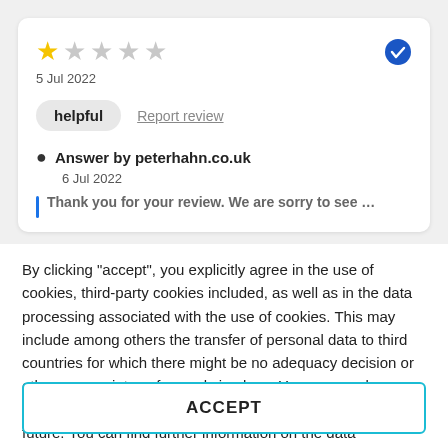[Figure (other): Star rating: 1 out of 5 stars (one filled gold star, four empty grey stars), with a blue verified checkmark badge on the right]
5 Jul 2022
helpful   Report review
Answer by peterhahn.co.uk
6 Jul 2022
Thank you for your review. We are sorry to see a 1...
By clicking "accept", you explicitly agree in the use of cookies, third-party cookies included, as well as in the data processing associated with the use of cookies. This may include among others the transfer of personal data to third countries for which there might be no adequacy decision or other appropriate safeguards in place. You can revoke your consent at any given time with immediate effect for the future. You can find further information on the data processing purposes, opt-out options, your rights, and the risks of data transfers to third countries here.
ACCEPT